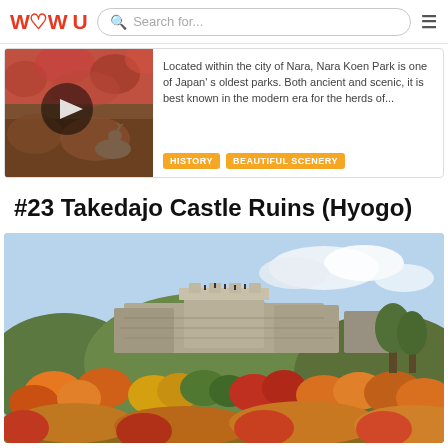WOW U — navigation bar with search
[Figure (photo): Thumbnail of a deer in autumn foliage with a play button overlay, partial card for Nara Koen Park]
Located within the city of Nara, Nara Koen Park is one of Japan's oldest parks. Both ancient and scenic, it is best known in the modern era for the herds of...
HISTORY   BEAUTIFUL SCENERY
#23 Takedajo Castle Ruins (Hyogo)
[Figure (photo): Autumn landscape photo of Takedajo Castle Ruins showing stone walls on a hillside surrounded by colorful fall foliage in orange, red, yellow and green, with blue sky and clouds]